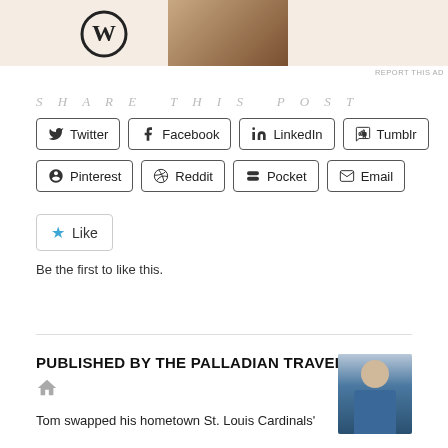[Figure (photo): WordPress advertisement banner with logo and partial product image on beige background]
REPORT THIS AD
SHARE THIS POST
Twitter
Facebook
LinkedIn
Tumblr
Pinterest
Reddit
Pocket
Email
Like
Be the first to like this.
PUBLISHED BY THE PALLADIAN TRAVELER
Tom swapped his hometown St. Louis Cardinals'
[Figure (photo): Author photo of older man with white beard wearing blue jacket and camera, outdoors]